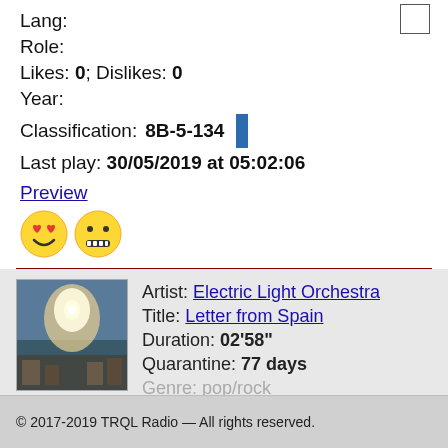Lang:
Role:
Likes: 0; Dislikes: 0
Year:
Classification: 8B-5-134
Last play: 30/05/2019 at 05:02:06
Preview
[Figure (illustration): Two emoji icons: a smiling face with heart eyes and a zipper-mouth face]
Artist: Electric Light Orchestra
Title: Letter from Spain
Duration: 02'58"
Quarantine: 77 days
Genre: pop/rock
[Figure (photo): Album art thumbnail for Electric Light Orchestra, shows an outdoor scene with light and crowd]
© 2017-2019 TRQL Radio — All rights reserved.